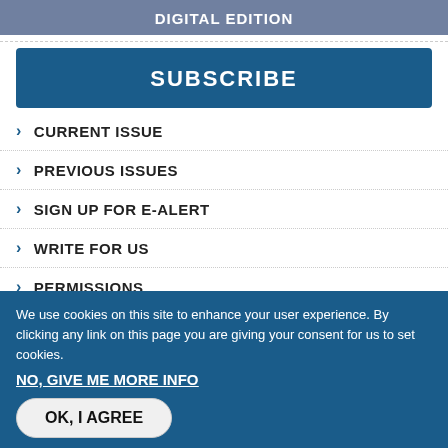DIGITAL EDITION
SUBSCRIBE
CURRENT ISSUE
PREVIOUS ISSUES
SIGN UP FOR E-ALERT
WRITE FOR US
PERMISSIONS
EDITORIAL INDEPENDENCE
We use cookies on this site to enhance your user experience. By clicking any link on this page you are giving your consent for us to set cookies.
NO, GIVE ME MORE INFO
OK, I AGREE